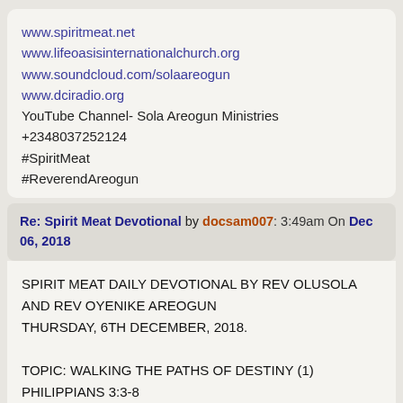www.spiritmeat.net
www.lifeoasisinternationalchurch.org
www.soundcloud.com/solaareogun
www.dciradio.org
YouTube Channel- Sola Areogun Ministries
+2348037252124
#SpiritMeat
#ReverendAreogun
Re: Spirit Meat Devotional by docsam007: 3:49am On Dec 06, 2018
SPIRIT MEAT DAILY DEVOTIONAL BY REV OLUSOLA AND REV OYENIKE AREOGUN
THURSDAY, 6TH DECEMBER, 2018.

TOPIC: WALKING THE PATHS OF DESTINY (1)
PHILIPPIANS 3:3-8